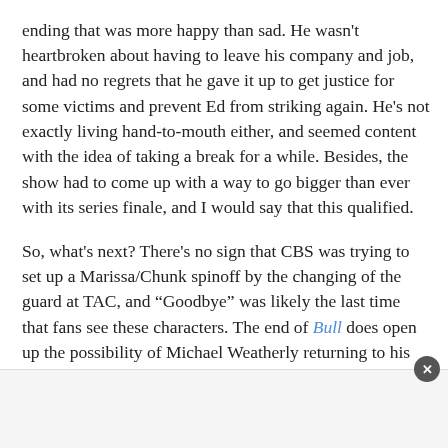ending that was more happy than sad. He wasn't heartbroken about having to leave his company and job, and had no regrets that he gave it up to get justice for some victims and prevent Ed from striking again. He's not exactly living hand-to-mouth either, and seemed content with the idea of taking a break for a while. Besides, the show had to come up with a way to go bigger than ever with its series finale, and I would say that this qualified.
So, what's next? There's no sign that CBS was trying to set up a Marissa/Chunk spinoff by the changing of the guard at TAC, and "Goodbye" was likely the last time that fans see these characters. The end of Bull does open up the possibility of Michael Weatherly returning to his old NCIS stomping grounds as Tony